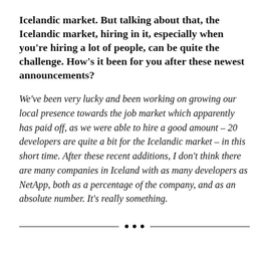Icelandic market. But talking about that, the Icelandic market, hiring in it, especially when you're hiring a lot of people, can be quite the challenge. How's it been for you after these newest announcements?
We've been very lucky and been working on growing our local presence towards the job market which apparently has paid off, as we were able to hire a good amount – 20 developers are quite a bit for the Icelandic market – in this short time. After these recent additions, I don't think there are many companies in Iceland with as many developers as NetApp, both as a percentage of the company, and as an absolute number. It's really something.
· · ·